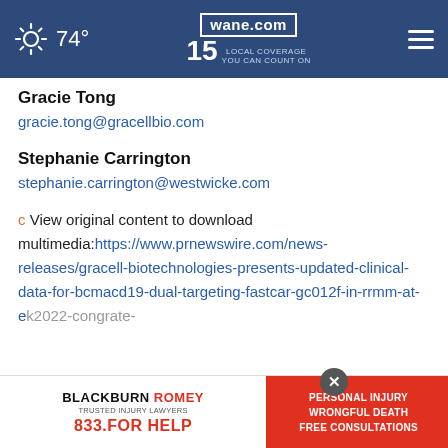74° | wane.com 15 LOCAL COVERAGE YOU CAN COUNT ON
Gracie Tong
gracie.tong@gracellbio.com
Stephanie Carrington
stephanie.carrington@westwicke.com
c View original content to download multimedia:https://www.prnewswire.com/news-releases/gracell-biotechnologies-presents-updated-clinical-data-for-bcmacd19-dual-targeting-fastcar-gc012f-in-rrmm-at-ek2022-cong...rate-
[Figure (screenshot): Blackburn Romey law firm advertisement banner: BLACKBURN ROMEY TRUSTED INJURY LAWYERS 833.FOR HELP | PERSONAL INJURY WRONGFUL DEATH FREE CONSULTATIONS]